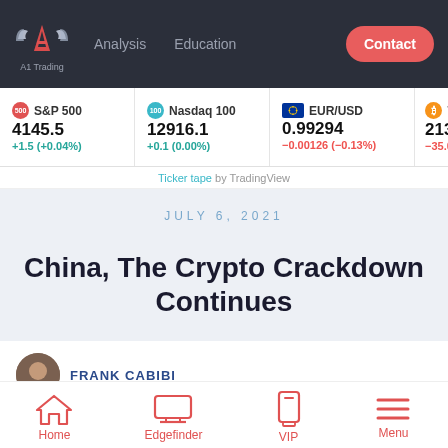A1 Trading — Analysis | Education | Contact
S&P 500 4145.5 +1.5 (+0.04%) | Nasdaq 100 12916.1 +0.1 (0.00%) | EUR/USD 0.99294 -0.00126 (-0.13%) | 21376.0 -35.00
Ticker tape by TradingView
JULY 6, 2021
China, The Crypto Crackdown Continues
FRANK CABIBI
Home | Edgefinder | VIP | Menu